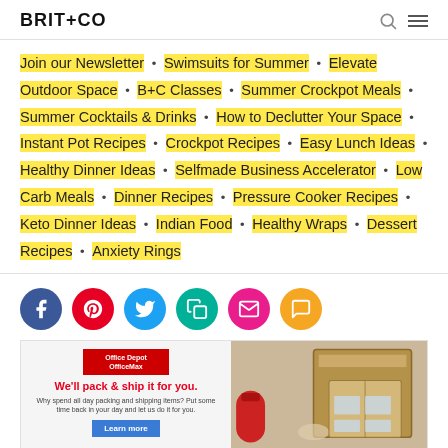BRIT+CO
Join our Newsletter • Swimsuits for Summer • Elevate Outdoor Space • B+C Classes • Summer Crockpot Meals • Summer Cocktails & Drinks • How to Declutter Your Space • Instant Pot Recipes • Crockpot Recipes • Easy Lunch Ideas • Healthy Dinner Ideas • Selfmade Business Accelerator • Low Carb Meals • Dinner Recipes • Pressure Cooker Recipes • Keto Dinner Ideas • Indian Food • Healthy Wraps • Dessert Recipes • Anxiety Rings
[Figure (infographic): Social sharing icons: Facebook (blue), Pinterest (red), Twitter (teal/blue), Copy link (teal), Email (pink), SMS (orange)]
[Figure (infographic): Office Depot OfficeMax advertisement: We'll pack & ship it for you. Why spend all day packing and shipping items? Put some time back in your day and let us do it for you. Learn more button. Right side shows photo of hands packing a box with tape dispenser.]